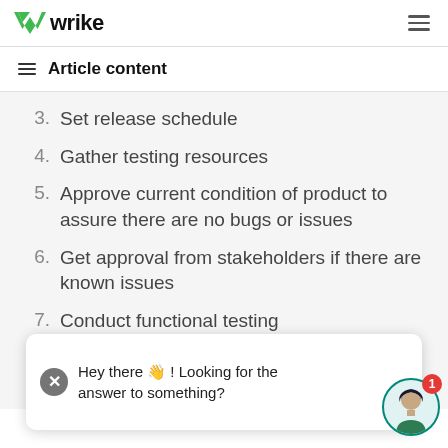wrike
Article content
3.  Set release schedule
4.  Gather testing resources
5.  Approve current condition of product to assure there are no bugs or issues
6.  Get approval from stakeholders if there are known issues
7.  Conduct functional testing
8.  Cond[uct...]
9.  Conduct backward and/or forward
Hey there 👋! Looking for the answer to something?